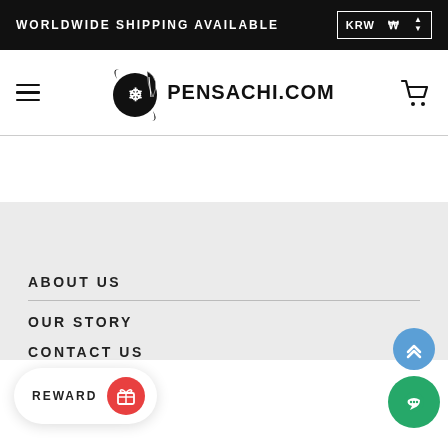WORLDWIDE SHIPPING AVAILABLE   KRW ₩
[Figure (logo): Pensachi.com logo with scroll/pen graphic and text PENSACHI.COM, hamburger menu icon on left, shopping cart icon on right]
ABOUT US
OUR STORY
CONTACT US